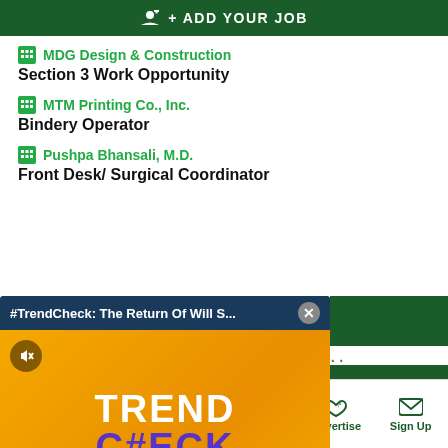+ ADD YOUR JOB
MDG Design & Construction
Section 3 Work Opportunity
MTM Printing Co., Inc.
Bindery Operator
Pushpa Bhansali, M.D.
Front Desk/ Surgical Coordinator
[Figure (screenshot): TrendCheck video popup overlay with dark blue header bar showing '#TrendCheck: The Return Of Will S...' and a close button, and an orange/yellow background with 'TRENDCHECK' logo in white and purple text]
Sections  NY Edition  Philly  Games  Advertise  Sign Up